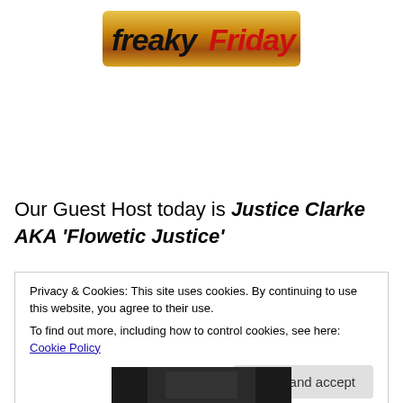[Figure (logo): Freaky Friday logo banner with gold/fire background and stylized text]
Our Guest Host today is Justice Clarke AKA ‘Flowetic Justice’
Privacy & Cookies: This site uses cookies. By continuing to use this website, you agree to their use.
To find out more, including how to control cookies, see here: Cookie Policy
Close and accept
[Figure (photo): Partial photo at bottom of page, dark image]